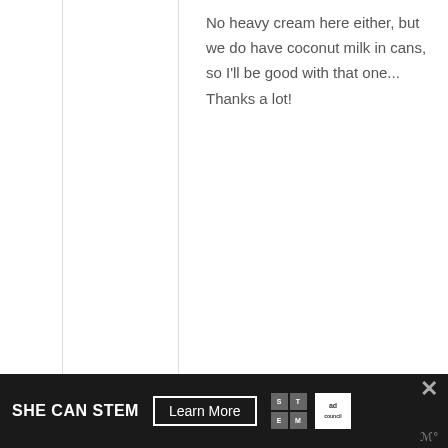No heavy cream here either, but we do have coconut milk in cans, so I'll be good with that one... Thanks a lot!
Reply
[Figure (illustration): Gray avatar placeholder with a person silhouette icon]
Julie @ Willow Bird Baking
March 7, 2012 at 7:29 pm (10 years ago)
Sure thing! If you have coconut
[Figure (infographic): SHE CAN STEM advertisement banner with Learn More button, STEM logo, and Ad Council logo on dark background]